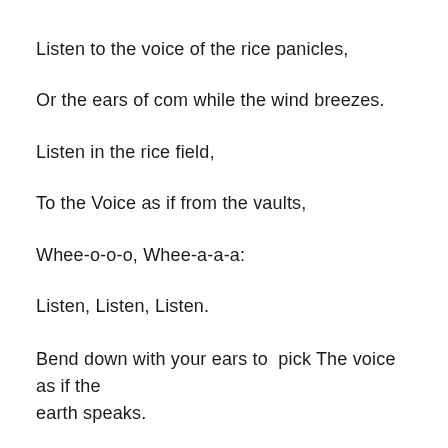Listen to the voice of the rice panicles,
Or the ears of com while the wind breezes.
Listen in the rice field,
To the Voice as if from the vaults,
Whee-o-o-o, Whee-a-a-a:
Listen, Listen, Listen.
Bend down with your ears to pick The voice as if the earth speaks.